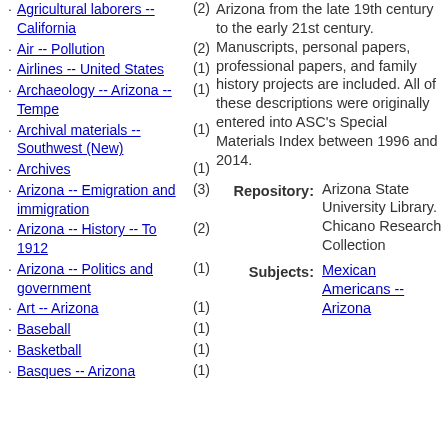Agricultural laborers -- California (2)
Air -- Pollution (2)
Airlines -- United States (1)
Archaeology -- Arizona -- Tempe (1)
Archival materials -- Southwest (New) (1)
Archives (1)
Arizona -- Emigration and immigration (3)
Arizona -- History -- To 1912 (2)
Arizona -- Politics and government (1)
Art -- Arizona (1)
Baseball (1)
Basketball (1)
Basques -- Arizona (1)
Arizona from the late 19th century to the early 21st century. Manuscripts, personal papers, professional papers, and family history projects are included. All of these descriptions were originally entered into ASC's Special Materials Index between 1996 and 2014.
Repository: Arizona State University Library. Chicano Research Collection
Subjects: Mexican Americans -- Arizona